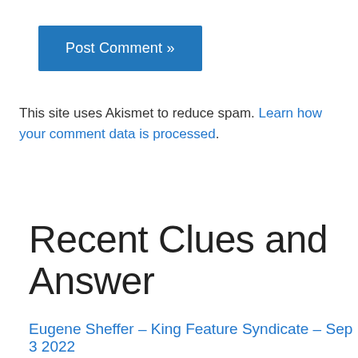[Figure (other): Blue 'Post Comment »' button]
This site uses Akismet to reduce spam. Learn how your comment data is processed.
Recent Clues and Answer
Eugene Sheffer – King Feature Syndicate – Sep 3 2022